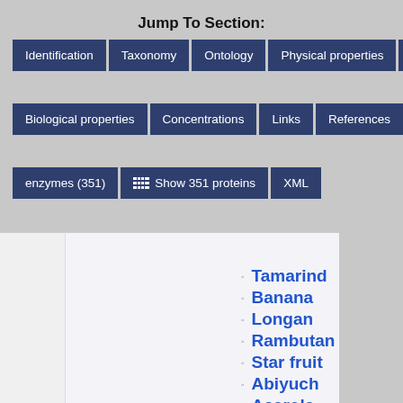Jump To Section:
Identification
Taxonomy
Ontology
Physical properties
Spectra
Biological properties
Concentrations
Links
References
enzymes (351)
Show 351 proteins
XML
Tamarind
Banana
Longan
Rambutan
Star fruit
Abiyuch
Acerola
Breadfruit
Natal plum
Cherimoya
Coconut
Durian
Jackfruit
Java plum